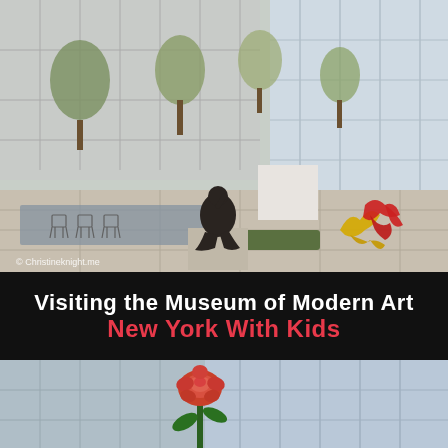[Figure (photo): Outdoor sculpture garden at the Museum of Modern Art, New York. A dark bronze seated figure sculpture on a pedestal is centered. Behind it are abstract colorful sculptures (yellow and red). Wire chairs are visible near a rectangular pool. Glass facade building in background. Trees. Watermark: © Christineknight.me]
Visiting the Museum of Modern Art New York With Kids
[Figure (photo): Partial view of the exterior of MoMA New York. A large rose sculpture visible against a glass building facade. Bottom portion of image cut off.]